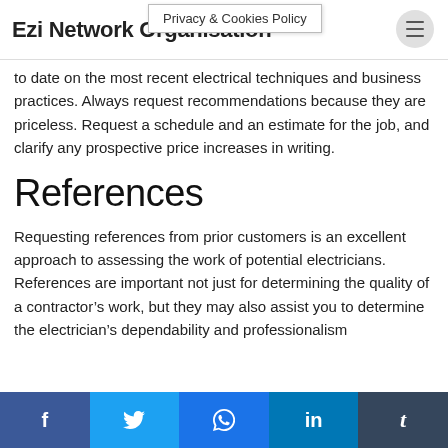Ezi Network Organisation
to date on the most recent electrical techniques and business practices. Always request recommendations because they are priceless. Request a schedule and an estimate for the job, and clarify any prospective price increases in writing.
References
Requesting references from prior customers is an excellent approach to assessing the work of potential electricians. References are important not just for determining the quality of a contractor's work, but they may also assist you to determine the electrician's dependability and professionalism